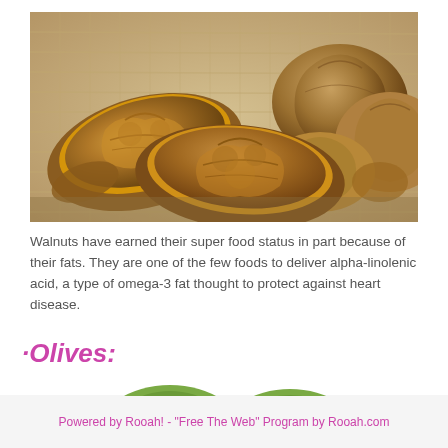[Figure (photo): Close-up photo of walnuts — two walnut halves in open shells showing golden-brown interior, plus several whole walnuts in shells, arranged on a burlap fabric background.]
Walnuts have earned their super food status in part because of their fats. They are one of the few foods to deliver alpha-linolenic acid, a type of omega-3 fat thought to protect against heart disease.
·Olives:
[Figure (photo): Partial view of green olives at the bottom of the page, cropped.]
Powered by Rooah! - "Free The Web" Program by Rooah.com